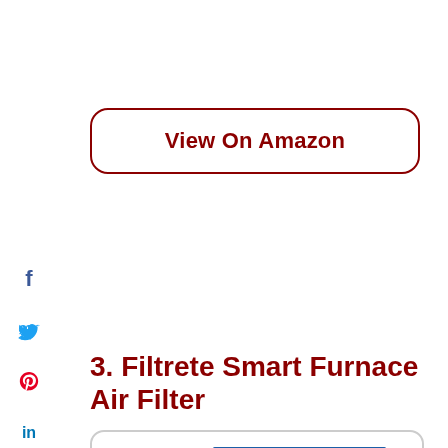View On Amazon
f
y
p
in
3. Filtrete Smart Furnace Air Filter
[Figure (photo): Two Filtrete Smart Air Filter product boxes with blue packaging and yellow Filtrete logo text, showing '150' rating and Bluetooth smart connectivity icon.]